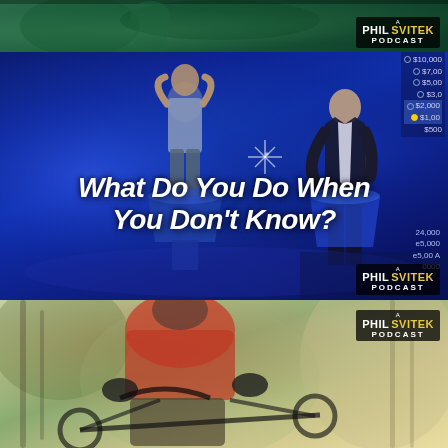[Figure (photo): Top partial panel showing a green/teal game show set background, partially cropped at top. Phil Svitek Podcast badge visible in lower right.]
[Figure (photo): Middle panel showing a quiz/game show set with blue neon lighting. A contestant on the left holds his head in hands, a host stands on the right near podiums. A prize board with dollar amounts ($10,000, $7,000, $5,000, $3,000, $2,000, $1,000, $500) is visible on the right side. Text overlay reads 'What Do You Do When You Don't Know?' Phil Svitek Podcast badge in lower right. Numbers (24,000; 25,000; etc.) visible at bottom right.]
[Figure (photo): Bottom panel showing a mountain biker in red jacket riding through a wooded trail. Phil Svitek Podcast badge visible in upper right.]